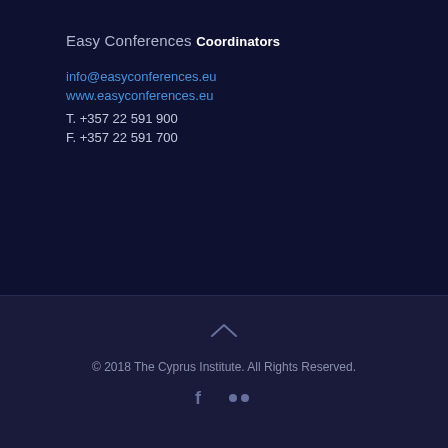Easy Conferences
Coordinators
info@easyconferences.eu
www.easyconferences.eu
T. +357 22 591 900
F. +357 22 591 700
© 2018 The Cyprus Institute. All Rights Reserved.